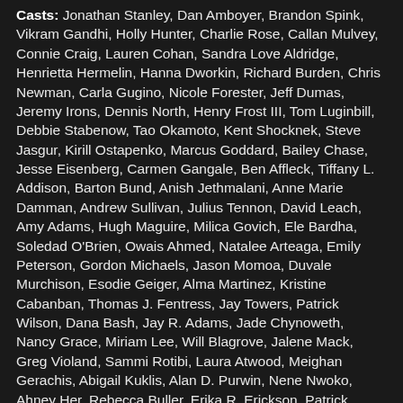Casts: Jonathan Stanley, Dan Amboyer, Brandon Spink, Vikram Gandhi, Holly Hunter, Charlie Rose, Callan Mulvey, Connie Craig, Lauren Cohan, Sandra Love Aldridge, Henrietta Hermelin, Hanna Dworkin, Richard Burden, Chris Newman, Carla Gugino, Nicole Forester, Jeff Dumas, Jeremy Irons, Dennis North, Henry Frost III, Tom Luginbill, Debbie Stabenow, Tao Okamoto, Kent Shocknek, Steve Jasgur, Kirill Ostapenko, Marcus Goddard, Bailey Chase, Jesse Eisenberg, Carmen Gangale, Ben Affleck, Tiffany L. Addison, Barton Bund, Anish Jethmalani, Anne Marie Damman, Andrew Sullivan, Julius Tennon, David Leach, Amy Adams, Hugh Maguire, Milica Govich, Ele Bardha, Soledad O'Brien, Owais Ahmed, Natalee Arteaga, Emily Peterson, Gordon Michaels, Jason Momoa, Duvale Murchison, Esodie Geiger, Alma Martinez, Kristine Cabanban, Thomas J. Fentress, Jay Towers, Patrick Wilson, Dana Bash, Jay R. Adams, Jade Chynoweth, Nancy Grace, Miriam Lee, Will Blagrove, Jalene Mack, Greg Violand, Sammi Rotibi, Laura Atwood, Meighan Gerachis, Abigail Kuklis, Alan D. Purwin, Nene Nwoko, Ahney Her, Rebecca Buller, Erika R. Erickson, Patrick O'Connor Cronin, John Lepard, Taras Los, Debbie Scaletta, Anderson Cooper, Danny Mooney , Diane Lane, Diana Gaitirira, Dante Briggins, Neil deGrasse Tyson, Christina Wren, Mark Edward Taylor, Marcelo Bem, Rashontae Wawrzyniak, Keith D. Gallagher, Ripley Sobo, Scoot McNairy, Albert Valladares, Sonja Crosby, Cruz